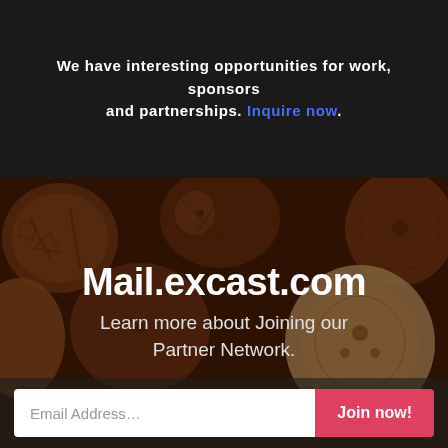We have interesting opportunities for work, sponsors and partnerships. Inquire now.
[Figure (photo): Close-up photograph of decorative carved wooden beads with various patterns including geometric shapes, triangles, and ornamental designs. The beads are in warm brown/terracotta tones with a dark overlay.]
Mail.excast.com
Learn more about Joining our Partner Network.
Email Address... Join now!